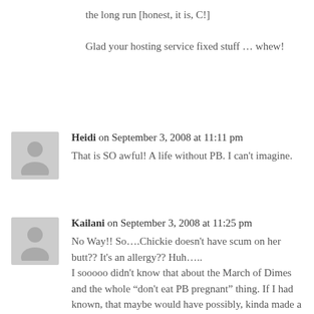the long run [honest, it is, C!]

Glad your hosting service fixed stuff … whew!
Heidi on September 3, 2008 at 11:11 pm
That is SO awful! A life without PB. I can't imagine.
Kailani on September 3, 2008 at 11:25 pm
No Way!! So….Chickie doesn't have scum on her butt?? It's an allergy?? Huh…..
I sooooo didn't know that about the March of Dimes and the whole “don't eat PB pregnant” thing. If I had known, that maybe would have possibly, kinda made a difference. Or at least Girl Child would have had a better shot.